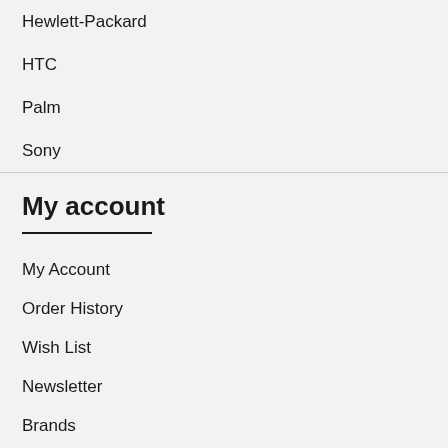Hewlett-Packard
HTC
Palm
Sony
My account
My Account
Order History
Wish List
Newsletter
Brands
Gift Vouchers
Affiliates
Specials